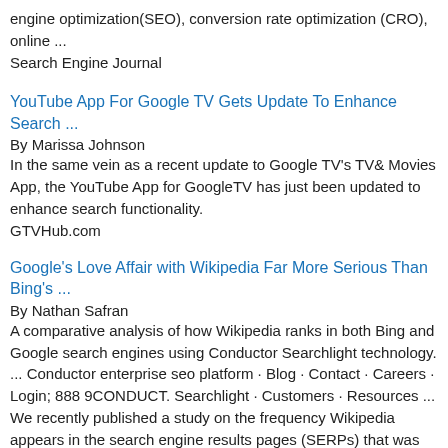engine optimization(SEO), conversion rate optimization (CRO), online ...
Search Engine Journal
YouTube App For Google TV Gets Update To Enhance Search ...
By Marissa Johnson
In the same vein as a recent update to Google TV's TV& Movies App, the YouTube App for GoogleTV has just been updated to enhance search functionality.
GTVHub.com
Google's Love Affair with Wikipedia Far More Serious Than Bing's ...
By Nathan Safran
A comparative analysis of how Wikipedia ranks in both Bing and Google search engines using Conductor Searchlight technology. ... Conductor enterprise seo platform · Blog · Contact · Careers · Login; 888 9CONDUCT. Searchlight · Customers · Resources ... We recently published a study on the frequency Wikipedia appears in the search engine results pages (SERPs) that was covered by both Search